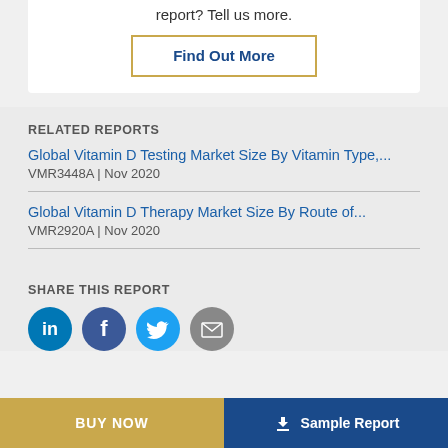report? Tell us more.
Find Out More
RELATED REPORTS
Global Vitamin D Testing Market Size By Vitamin Type,...
VMR3448A | Nov 2020
Global Vitamin D Therapy Market Size By Route of...
VMR2920A | Nov 2020
SHARE THIS REPORT
[Figure (infographic): Social share icons: LinkedIn, Facebook, Twitter, Email]
BUY NOW
Sample Report